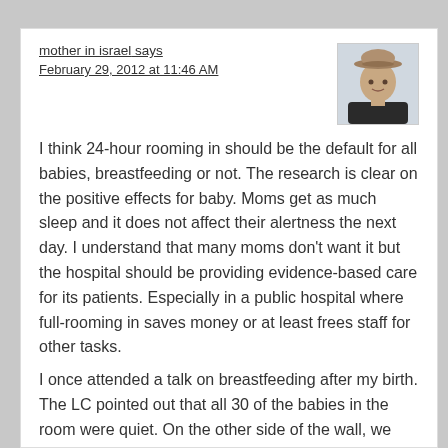mother in israel says
February 29, 2012 at 11:46 AM
[Figure (photo): Small avatar photo of a woman wearing a hat, shown from shoulders up]
I think 24-hour rooming in should be the default for all babies, breastfeeding or not. The research is clear on the positive effects for baby. Moms get as much sleep and it does not affect their alertness the next day. I understand that many moms don't want it but the hospital should be providing evidence-based care for its patients. Especially in a public hospital where full-rooming in saves money or at least frees staff for other tasks.
I once attended a talk on breastfeeding after my birth. The LC pointed out that all 30 of the babies in the room were quiet. On the other side of the wall, we heard babies screaming at the top of